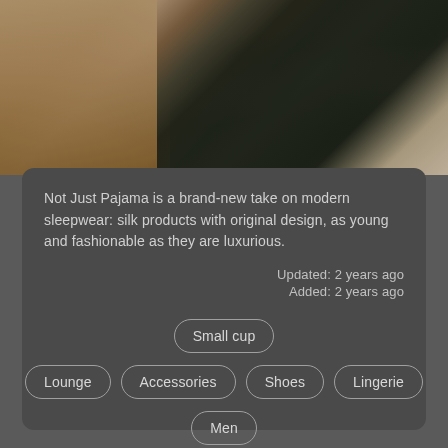[Figure (photo): Fashion photo showing two people: a person in a tan/beige blazer on the left side and a person in dark silk/satin clothing sitting and reading a book on the right side, on a patterned floor.]
Not Just Pajama is a brand-new take on modern sleepwear: silk products with original design, as young and fashionable as they are luxurious.
Updated: 2 years ago
Added: 2 years ago
Small cup
Lounge
Accessories
Shoes
Lingerie
Men